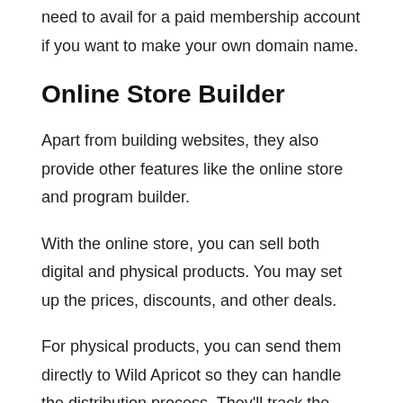need to avail for a paid membership account if you want to make your own domain name.
Online Store Builder
Apart from building websites, they also provide other features like the online store and program builder.
With the online store, you can sell both digital and physical products. You may set up the prices, discounts, and other deals.
For physical products, you can send them directly to Wild Apricot so they can handle the distribution process. They'll track the process inventory and payments. However, you'll be the one to deal with the logistics.
For now, the only downside for their online store builder is that you can not add shipping calculation tools or options to adjust the